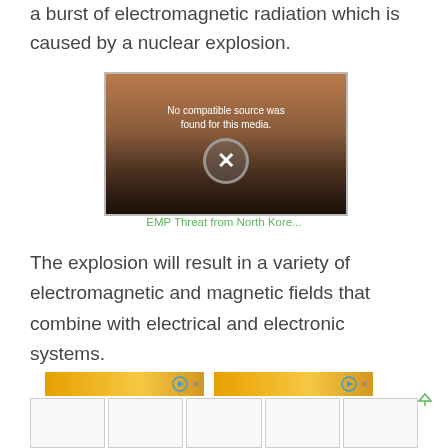a burst of electromagnetic radiation which is caused by a nuclear explosion.
[Figure (screenshot): Video player showing 'No compatible source was found for this media.' with an X button overlay on a sunset/landscape background image.]
EMP Threat from North Kore...
The explosion will result in a variety of electromagnetic and magnetic fields that combine with electrical and electronic systems.
[Figure (screenshot): Advertisement thumbnails row with yellow-background video previews and a grid of ad cells below.]